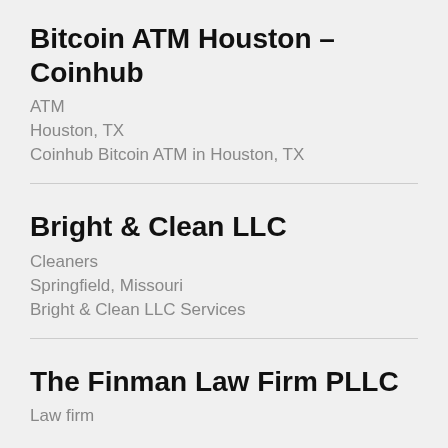Bitcoin ATM Houston – Coinhub
ATM
Houston, TX
Coinhub Bitcoin ATM in Houston, TX
Bright & Clean LLC
Cleaners
Springfield, Missouri
Bright & Clean LLC Services
The Finman Law Firm PLLC
Law firm